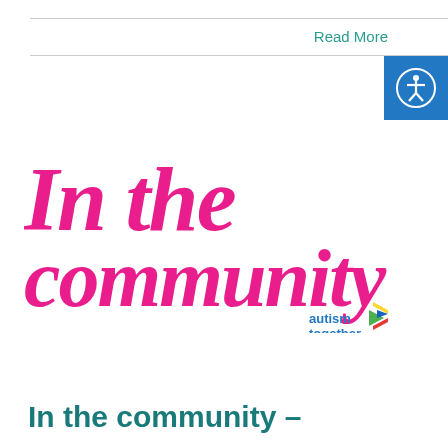Read More
[Figure (logo): Autism Together 'In the community' logo with large pink cursive text reading 'In the community' and the Autism Together wordmark with a multicolour play-button arrow icon]
In the community –